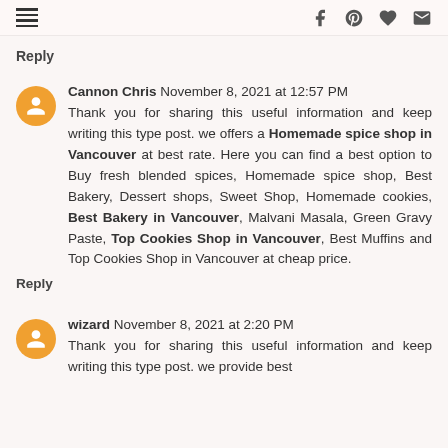[menu icon] [facebook] [pinterest] [heart] [email]
Reply
Cannon Chris November 8, 2021 at 12:57 PM
Thank you for sharing this useful information and keep writing this type post. we offers a Homemade spice shop in Vancouver at best rate. Here you can find a best option to Buy fresh blended spices, Homemade spice shop, Best Bakery, Dessert shops, Sweet Shop, Homemade cookies, Best Bakery in Vancouver, Malvani Masala, Green Gravy Paste, Top Cookies Shop in Vancouver, Best Muffins and Top Cookies Shop in Vancouver at cheap price.
Reply
wizard November 8, 2021 at 2:20 PM
Thank you for sharing this useful information and keep writing this type post. we provide best